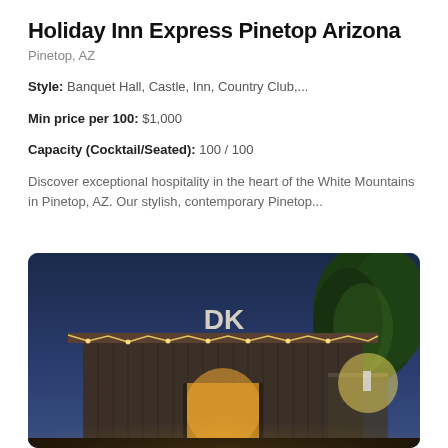Holiday Inn Express Pinetop Arizona
Pinetop, AZ
Style: Banquet Hall, Castle, Inn, Country Club,...
Min price per 100: $1,000
Capacity (Cocktail/Seated): 100 / 100
Discover exceptional hospitality in the heart of the White Mountains in Pinetop, AZ. Our stylish, contemporary Pinetop...
[Figure (photo): Evening photo of a barn-style building with string lights and DK lettering, illuminated entrance, trees in background against a dark blue sky]